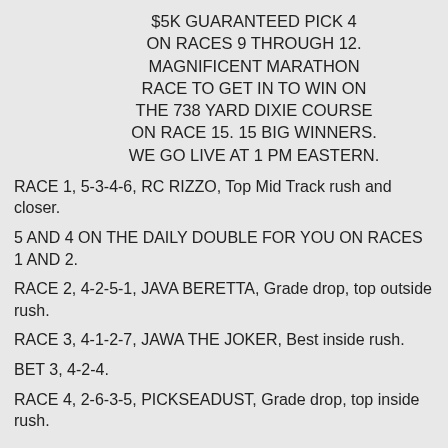$5K GUARANTEED PICK 4 ON RACES 9 THROUGH 12. MAGNIFICENT MARATHON RACE TO GET IN TO WIN ON THE 738 YARD DIXIE COURSE ON RACE 15. 15 BIG WINNERS. WE GO LIVE AT 1 PM EASTERN.
RACE 1, 5-3-4-6, RC RIZZO, Top Mid Track rush and closer.
5 AND 4 ON THE DAILY DOUBLE FOR YOU ON RACES 1 AND 2.
RACE 2, 4-2-5-1, JAVA BERETTA, Grade drop, top outside rush.
RACE 3, 4-1-2-7, JAWA THE JOKER, Best inside rush.
BET 3, 4-2-4.
RACE 4, 2-6-3-5, PICKSEADUST, Grade drop, top inside rush.